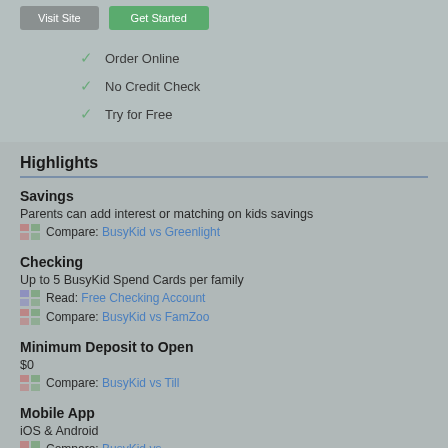Order Online
No Credit Check
Try for Free
Highlights
Savings
Parents can add interest or matching on kids savings
Compare: BusyKid vs Greenlight
Checking
Up to 5 BusyKid Spend Cards per family
Read: Free Checking Account
Compare: BusyKid vs FamZoo
Minimum Deposit to Open
$0
Compare: BusyKid vs Till
Mobile App
iOS & Android